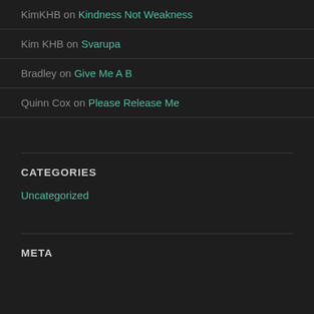KimKHB on Kindness Not Weakness
Kim KHB on Svarupa
Bradley on Give Me A B
Quinn Cox on Please Release Me
CATEGORIES
Uncategorized
META